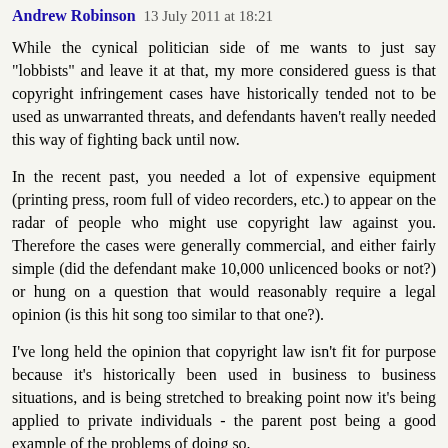Andrew Robinson 13 July 2011 at 18:21
While the cynical politician side of me wants to just say "lobbists" and leave it at that, my more considered guess is that copyright infringement cases have historically tended not to be used as unwarranted threats, and defendants haven't really needed this way of fighting back until now.
In the recent past, you needed a lot of expensive equipment (printing press, room full of video recorders, etc.) to appear on the radar of people who might use copyright law against you. Therefore the cases were generally commercial, and either fairly simple (did the defendant make 10,000 unlicenced books or not?) or hung on a question that would reasonably require a legal opinion (is this hit song too similar to that one?).
I've long held the opinion that copyright law isn't fit for purpose because it's historically been used in business to business situations, and is being stretched to breaking point now it's being applied to private individuals - the parent post being a good example of the problems of doing so.